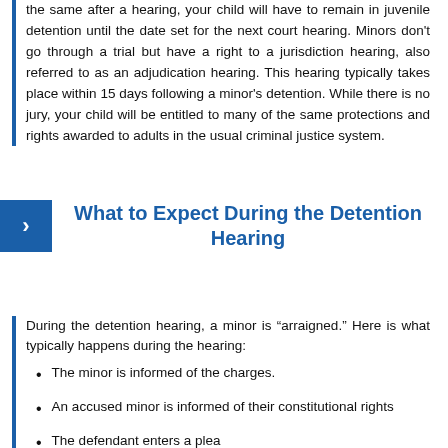the same after a hearing, your child will have to remain in juvenile detention until the date set for the next court hearing. Minors don't go through a trial but have a right to a jurisdiction hearing, also referred to as an adjudication hearing. This hearing typically takes place within 15 days following a minor's detention. While there is no jury, your child will be entitled to many of the same protections and rights awarded to adults in the usual criminal justice system.
What to Expect During the Detention Hearing
During the detention hearing, a minor is “arraigned.” Here is what typically happens during the hearing:
The minor is informed of the charges.
An accused minor is informed of their constitutional rights
The defendant enters a plea
Minors in the juvenile court system also have rights. They